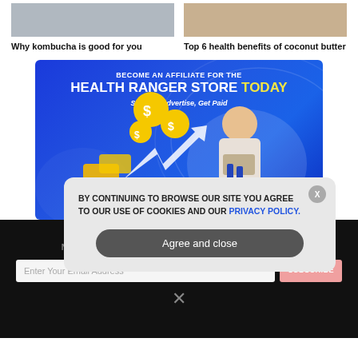Why kombucha is good for you
Top 6 health benefits of coconut butter
[Figure (illustration): Health Ranger Store affiliate program advertisement banner with blue gradient background, woman on phone with laptop, dollar signs and arrows, text: BECOME AN AFFILIATE FOR THE HEALTH RANGER STORE TODAY Sign Up, Advertise, Get Paid]
GET THE WORLD'S BEST INDEPENDENT MEDIA NEWSLETTER DELIVERED STRAIGHT TO YOUR INBOX.
Enter Your Email Address
SUBSCRIBE
BY CONTINUING TO BROWSE OUR SITE YOU AGREE TO OUR USE OF COOKIES AND OUR PRIVACY POLICY.
Agree and close